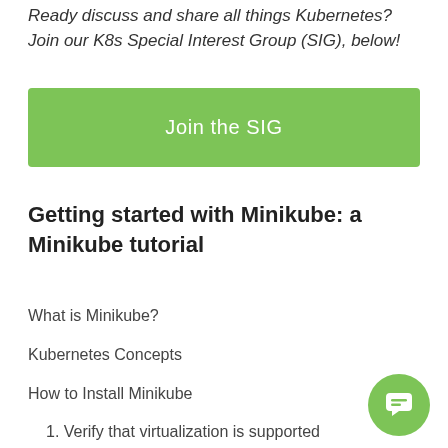Ready discuss and share all things Kubernetes? Join our K8s Special Interest Group (SIG), below!
[Figure (other): Green button labeled 'Join the SIG']
Getting started with Minikube: a Minikube tutorial
What is Minikube?
Kubernetes Concepts
How to Install Minikube
1. Verify that virtualization is supported
2. Install Kubectl
3. Install a hypervisor